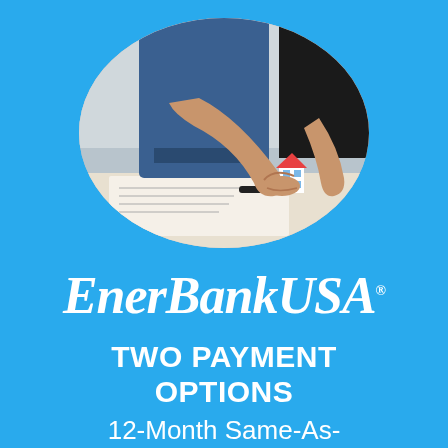[Figure (photo): Oval-framed photo of a person extending a handshake across a desk with documents, a pen, and a small house model visible]
EnerBankUSA®
TWO PAYMENT OPTIONS
12-Month Same-As-